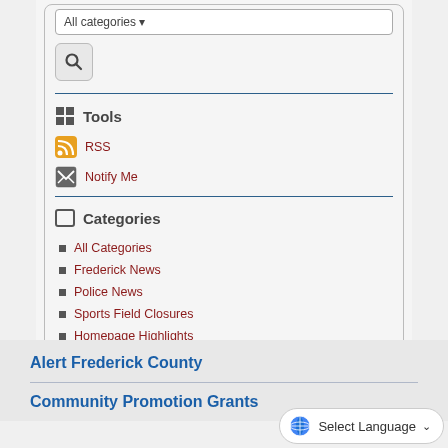All categories
Tools
RSS
Notify Me
Categories
All Categories
Frederick News
Police News
Sports Field Closures
Homepage Highlights
Alert Frederick County
Community Promotion Grants
Select Language